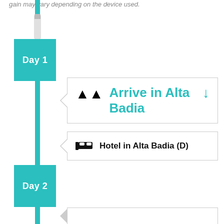gain may vary depending on the device used.
[Figure (infographic): Day 1 label box on teal vertical timeline]
Arrive in Alta Badia
Hotel in Alta Badia (D)
[Figure (infographic): Day 2 label box on teal vertical timeline]